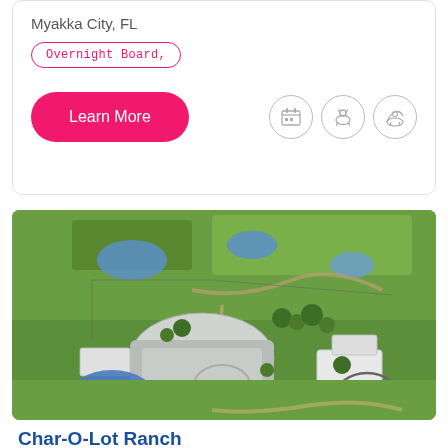Myakka City, FL
Overnight Board,
Learn More
[Figure (photo): Aerial photograph of a horse ranch facility with green fields, multiple ponds, large covered arena, barn structures, and landscaped grounds]
Char-O-Lot Ranch